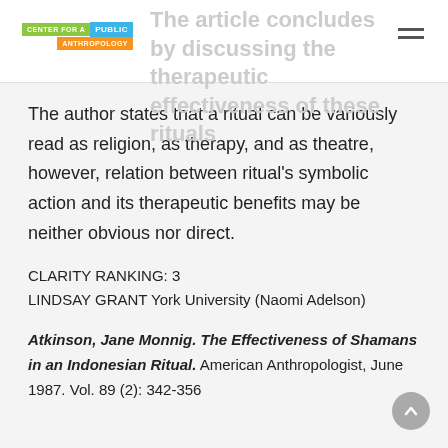Center for a Public Anthropology
The article concludes by discussing the therapeutic effectiveness of these rituals
The author states that a ritual can be variously read as religion, as therapy, and as theatre, however, relation between ritual's symbolic action and its therapeutic benefits may be neither obvious nor direct.
CLARITY RANKING: 3
LINDSAY GRANT York University (Naomi Adelson)
Atkinson, Jane Monnig. The Effectiveness of Shamans in an Indonesian Ritual. American Anthropologist, June 1987. Vol. 89 (2): 342-356.